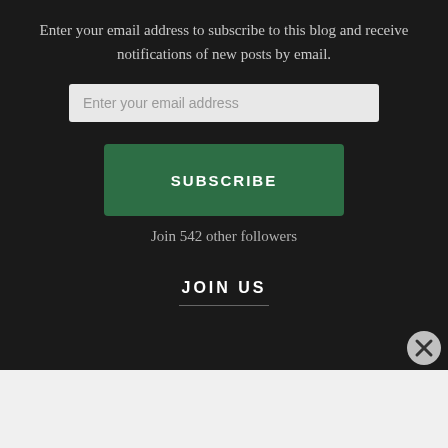Enter your email address to subscribe to this blog and receive notifications of new posts by email.
[Figure (screenshot): Email input field with placeholder text 'Enter your email address']
[Figure (screenshot): Green SUBSCRIBE button]
Join 542 other followers
JOIN US
Advertisements
[Figure (infographic): Fandom on Tumblr advertisement banner with gradient background from orange to purple]